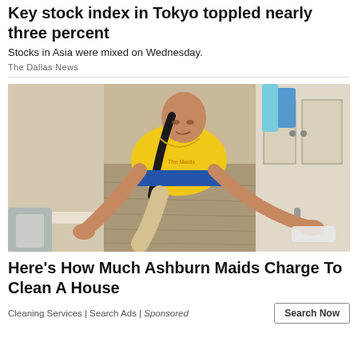Key stock index in Tokyo toppled nearly three percent
Stocks in Asia were mixed on Wednesday.
The Dallas News
[Figure (photo): Woman in yellow uniform cleaning a hardwood floor by hand, kneeling and scrubbing with a cloth in a home interior.]
Here's How Much Ashburn Maids Charge To Clean A House
Cleaning Services | Search Ads | Sponsored